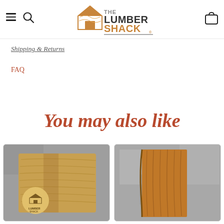The Lumber Shack — navigation bar with hamburger menu, search icon, logo, and cart icon
Shipping & Returns
FAQ
You may also like
[Figure (photo): Product photo of a wooden cutting board on a grey stone surface, with a Lumber Shack branded circular logo overlay in the lower left]
[Figure (photo): Product photo of a wooden board / slab on a grey stone surface showing wood grain detail]